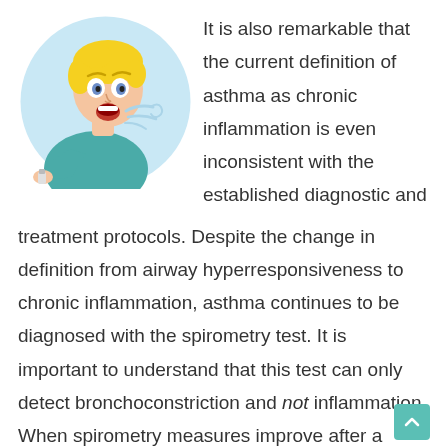[Figure (illustration): Cartoon illustration of a person with blonde hair coughing and holding an inhaler, shown in a circular blue-tinted frame]
It is also remarkable that the current definition of asthma as chronic inflammation is even inconsistent with the established diagnostic and treatment protocols. Despite the change in definition from airway hyperresponsiveness to chronic inflammation, asthma continues to be diagnosed with the spirometry test. It is important to understand that this test can only detect bronchoconstriction and not inflammation. When spirometry measures improve after a dosis of a short-